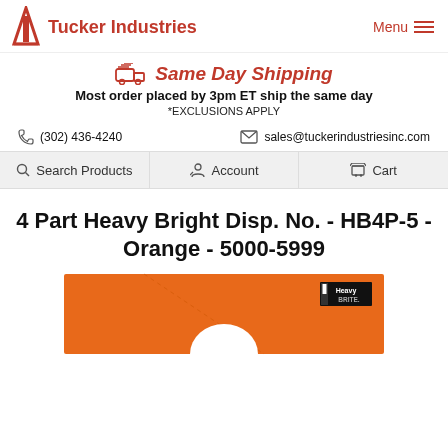Tucker Industries | Menu
Same Day Shipping
Most order placed by 3pm ET ship the same day
*EXCLUSIONS APPLY
(302) 436-4240   sales@tuckerindustriesinc.com
Search Products   Account   Cart
4 Part Heavy Bright Disp. No. - HB4P-5 - Orange - 5000-5999
[Figure (photo): Orange heavy bright product tag with a circular hole punch at the bottom center and Heavy Brite logo in the upper right corner]